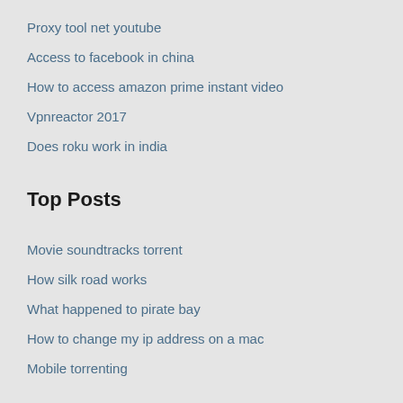Proxy tool net youtube
Access to facebook in china
How to access amazon prime instant video
Vpnreactor 2017
Does roku work in india
Top Posts
Movie soundtracks torrent
How silk road works
What happened to pirate bay
How to change my ip address on a mac
Mobile torrenting